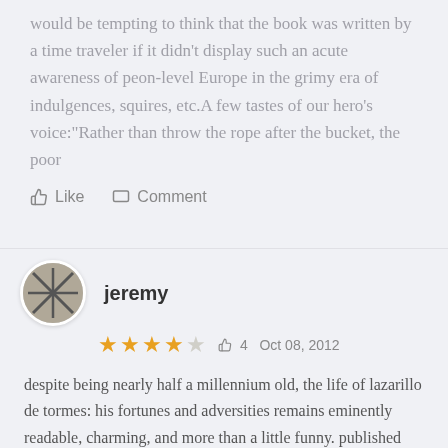would be tempting to think that the book was written by a time traveler if it didn’t display such an acute awareness of peon-level Europe in the grimy era of indulgences, squires, etc.A few tastes of our hero’s voice:“Rather than throw the rope after the bucket, the poor
👍 Like   □ Comment
jeremy
★★★★☆  4  Oct 08, 2012
despite being nearly half a millennium old, the life of lazarillo de tormes: his fortunes and adversities remains eminently readable, charming, and more than a little funny. published anonymously in 1554 (the authorship debate rages ever on), the novella was banned and later censored as part of the spanish inquisition for its